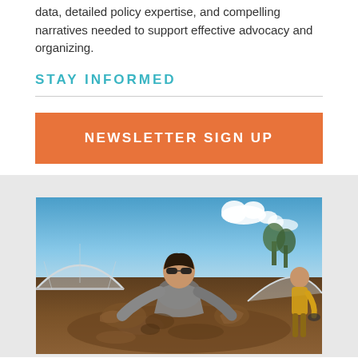data, detailed policy expertise, and compelling narratives needed to support effective advocacy and organizing.
STAY INFORMED
NEWSLETTER SIGN UP
[Figure (photo): A woman wearing sunglasses leaning over and working with soil/compost at an outdoor farm. A greenhouse tunnel is visible in the background on the left and right. A person in a yellow shirt stands in the background on the right.]